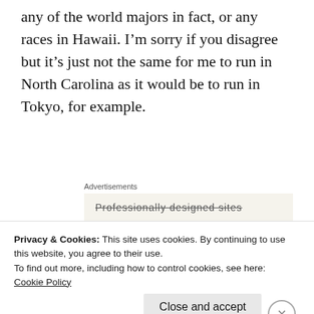any of the world majors in fact, or any races in Hawaii. I'm sorry if you disagree but it's just not the same for me to run in North Carolina as it would be to run in Tokyo, for example.
Advertisements
Professionally designed sites
Then I read the email closer and saw at the very bottom an option to defer to 2023. I quickly
Privacy & Cookies: This site uses cookies. By continuing to use this website, you agree to their use.
To find out more, including how to control cookies, see here:
Cookie Policy
Close and accept